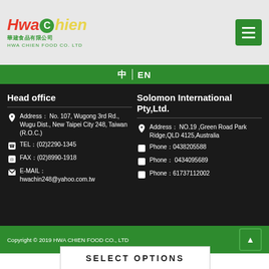[Figure (logo): Hwa Chien Food Co Ltd logo with Chinese characters and green/red/yellow styling]
中 | EN
Head office
Address： No. 107, Wugong 3rd Rd., Wugu Dist., New Taipei City 248, Taiwan (R.O.C.)
TEL：(02)2290-1345
FAX：(02)8990-1918
E-MAIL： hwachin248@yahoo.com.tw
Solomon International Pty,Ltd.
Address： NO.19 ,Green Road Park Ridge,QLD 4125,Australia
Phone：0438205588
Phone： 0434095689
Phone：61737112002
Copyright © 2019 HWA CHIEN FOOD CO., LTD
SELECT OPTIONS